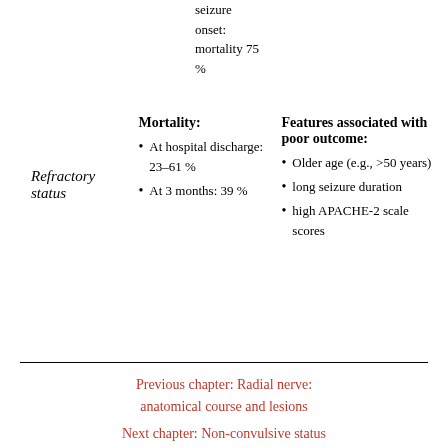seizure onset: mortality 75 %
|  | Mortality: | Features associated with poor outcome: |
| --- | --- | --- |
| Refractory status | • At hospital discharge: 23–61 %
• At 3 months: 39 % | • Older age (e.g., >50 years)
• long seizure duration
• high APACHE-2 scale scores |
Previous chapter: Radial nerve: anatomical course and lesions
Next chapter: Non-convulsive status